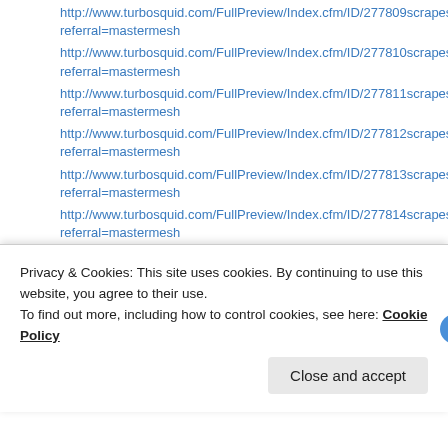http://www.turbosquid.com/FullPreview/Index.cfm/ID/277809scrapes referral=mastermesh
http://www.turbosquid.com/FullPreview/Index.cfm/ID/277810scrapes referral=mastermesh
http://www.turbosquid.com/FullPreview/Index.cfm/ID/277811scrapes referral=mastermesh
http://www.turbosquid.com/FullPreview/Index.cfm/ID/277812scrapes referral=mastermesh
http://www.turbosquid.com/FullPreview/Index.cfm/ID/277813scrapes referral=mastermesh
http://www.turbosquid.com/FullPreview/Index.cfm/ID/277814scrapes referral=mastermesh
http://www.turbosquid.com/FullPreview/Index.cfm/ID/277815scrapes referral=mastermesh
http://www.turbosquid.com/FullPreview/Index.cfm/ID/277816scrapes
Privacy & Cookies: This site uses cookies. By continuing to use this website, you agree to their use. To find out more, including how to control cookies, see here: Cookie Policy
Close and accept